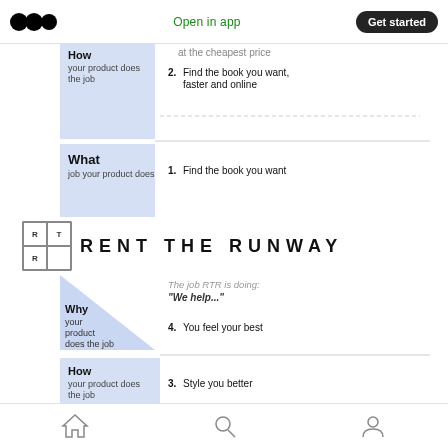Open in app | Get started
[Figure (infographic): Pyramid/funnel diagram showing 'How your product does the job' with items: 1. at the cheapest price (partially visible), 2. Find the book you want, faster and online. Below that, 'What job your product does' with item: 1. Find the book you want]
[Figure (logo): Rent The Runway logo with RTR grid and wordmark RENT THE RUNWAY]
The job RTR is doing: "We help..."
[Figure (infographic): Pyramid diagram for Rent The Runway. Why your product does the job: 4. You feel your best. How your product does the job: 3. Style you better, 2. Style you faster]
Home | Search | Profile